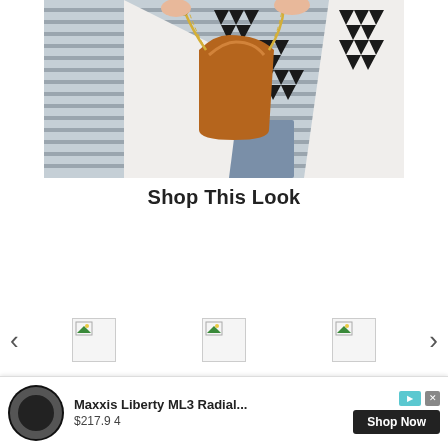[Figure (photo): Fashion photo showing a person holding a brown leather chain-strap handbag, wearing a black and white geometric patterned cardigan/kimono over jeans, in front of metal rolling shutters]
Shop This Look
[Figure (other): Product carousel with left/right navigation arrows and three broken product image placeholders]
My ac ... ack but th ... d say
[Figure (other): Advertisement banner: Maxxis Liberty ML3 Radial... $217.9 4, Shop Now button, with close and play icons]